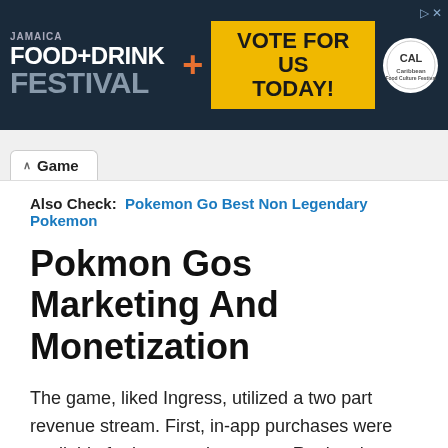[Figure (illustration): Jamaica Food+Drink Festival advertisement banner with orange plus sign, yellow 'Vote For Us Today!' box, and circular logo on dark navy background]
Game
Also Check:  Pokemon Go Best Non Legendary Pokemon
Pokmon Gos Marketing And Monetization
The game, liked Ingress, utilized a two part revenue stream. First, in-app purchases were available for items and currency. Regional partnerships also helped Niantic make some serious dough. Working with brands like Sprint, Starbucks, and others helped bring in some steady revenue to continue work on the app.